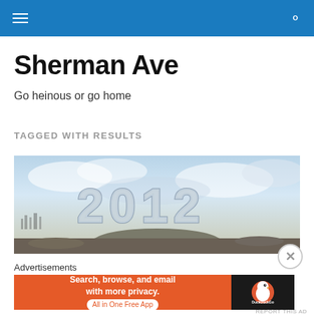Sherman Ave navigation bar
Sherman Ave
Go heinous or go home
TAGGED WITH RESULTS
[Figure (photo): Movie poster for '2012' showing large metallic '2012' text over a dramatic cloudy sky with a devastated cityscape and large boulder in the foreground]
Advertisements
[Figure (other): DuckDuckGo advertisement banner reading 'Search, browse, and email with more privacy. All in One Free App' with orange background and DuckDuckGo logo on dark background]